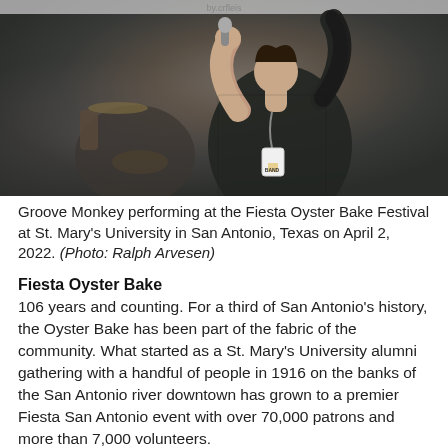[Figure (photo): A performer singing into a microphone, wearing a black lace top with a BAND badge lanyard, at the Fiesta Oyster Bake Festival. A drummer is visible in the background.]
Groove Monkey performing at the Fiesta Oyster Bake Festival at St. Mary's University in San Antonio, Texas on April 2, 2022. (Photo: Ralph Arvesen)
Fiesta Oyster Bake
106 years and counting. For a third of San Antonio's history, the Oyster Bake has been part of the fabric of the community. What started as a St. Mary's University alumni gathering with a handful of people in 1916 on the banks of the San Antonio river downtown has grown to a premier Fiesta San Antonio event with over 70,000 patrons and more than 7,000 volunteers.